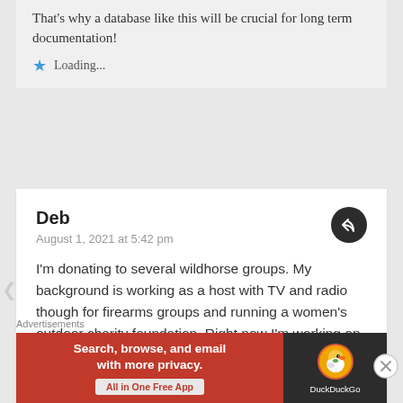That's why a database like this will be crucial for long term documentation!
★ Loading...
Deb
August 1, 2021 at 5:42 pm
I'm donating to several wildhorse groups. My background is working as a host with TV and radio though for firearms groups and running a women's outdoor charity foundation. Right now I'm working on getting NPR to cover the wildhorse issues and specifically the mismanagement by BLM. I just signed up to help the MARR Express Ride starting in Arizona to go cross country telling the Wildhorse
Advertisements
[Figure (infographic): DuckDuckGo advertisement banner: orange/red left panel with text 'Search, browse, and email with more privacy. All in One Free App', dark right panel with DuckDuckGo logo duck icon and brand name.]